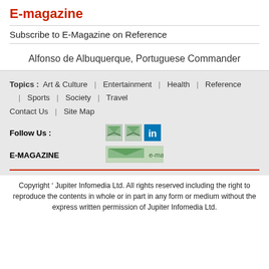E-magazine
Subscribe to E-Magazine on Reference
Alfonso de Albuquerque, Portuguese Commander
Topics :  Art & Culture  |  Entertainment  |  Health  |  Reference  |  Sports  |  Society  |  Travel
Contact Us  |  Site Map
Follow Us :
E-MAGAZINE
Copyright ’ Jupiter Infomedia Ltd. All rights reserved including the right to reproduce the contents in whole or in part in any form or medium without the express written permission of Jupiter Infomedia Ltd.